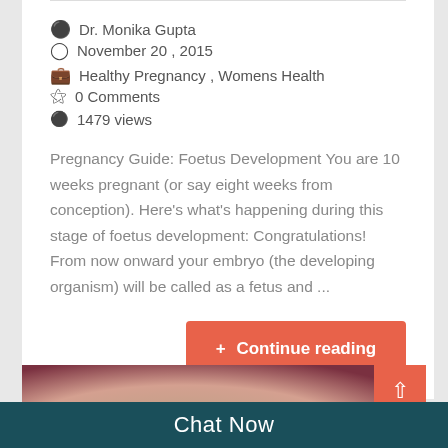Dr. Monika Gupta   November 20 , 2015   Healthy Pregnancy , Womens Health   0 Comments   1479 views
Pregnancy Guide: Foetus Development You are 10 weeks pregnant (or say eight weeks from conception). Here's what's happening during this stage of foetus development: Congratulations! From now onward your embryo (the developing organism) will be called as a fetus and ...
+ Continue reading
[Figure (photo): Close-up photo of a fetus/embryo against a dark reddish background]
Chat Now